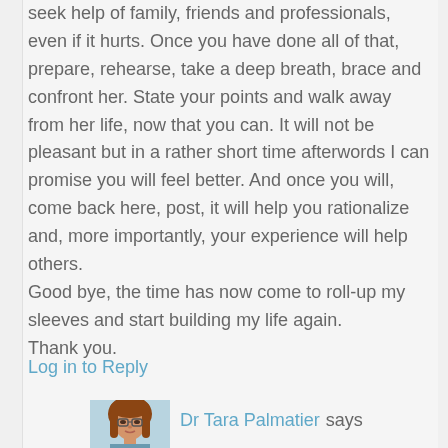seek help of family, friends and professionals, even if it hurts. Once you have done all of that, prepare, rehearse, take a deep breath, brace and confront her. State your points and walk away from her life, now that you can. It will not be pleasant but in a rather short time afterwords I can promise you will feel better. And once you will, come back here, post, it will help you rationalize and, more importantly, your experience will help others.
Good bye, the time has now come to roll-up my sleeves and start building my life again.
Thank you.
Log in to Reply
[Figure (photo): Small avatar photo of Dr Tara Palmatier, a woman with red/auburn hair and glasses]
Dr Tara Palmatier says